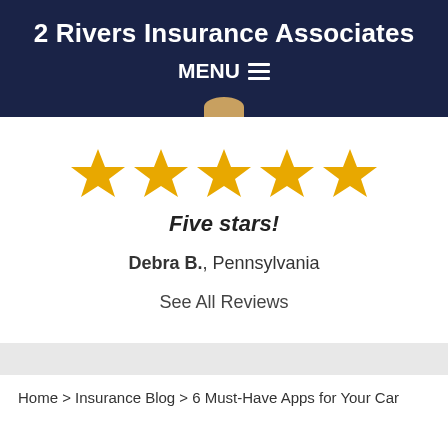2 Rivers Insurance Associates
MENU ≡
[Figure (infographic): Five gold/yellow star rating icons in a row]
Five stars!
Debra B., Pennsylvania
See All Reviews
Home > Insurance Blog > 6 Must-Have Apps for Your Car